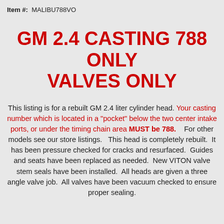Item #:  MALIBU788VO
GM 2.4 CASTING 788 ONLY VALVES ONLY
This listing is for a rebuilt GM 2.4 liter cylinder head. Your casting number which is located in a "pocket" below the two center intake ports, or under the timing chain area MUST be 788.    For other models see our store listings.   This head is completely rebuilt.  It has been pressure checked for cracks and resurfaced.  Guides and seats have been replaced as needed.  New VITON valve stem seals have been installed.  All heads are given a three angle valve job.  All valves have been vacuum checked to ensure proper sealing.